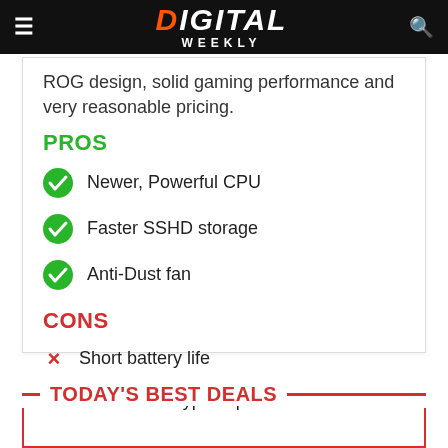DIGITAL WEEKLY
ROG design, solid gaming performance and very reasonable pricing.
PROS
Newer, Powerful CPU
Faster SSHD storage
Anti-Dust fan
CONS
Short battery life
Lacks USB Type-C port
TODAY'S BEST DEALS